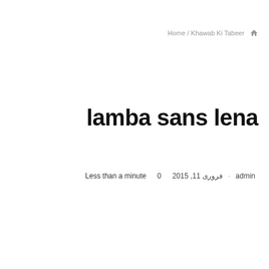Home / Khawab Ki Tabeer 🏠
lamba sans lena
Less than a minute 🔖  0 💬  فروری 11, 2015  ·  admin 👤